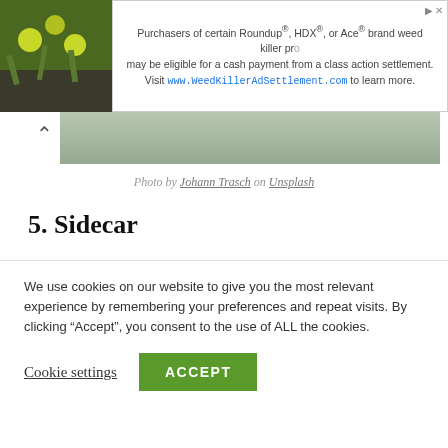[Figure (screenshot): Advertisement banner with plant photo on left and text about Roundup/HDX/Ace weed killer class action settlement on right]
[Figure (screenshot): Partial scrolled image strip with up-arrow navigation button]
Photo by Johann Trasch on Unsplash
5. Sidecar
This is a drink your Great Great Grandaddy probably sunk a few of. It’s a classic and delicious to boot.
We use cookies on our website to give you the most relevant experience by remembering your preferences and repeat visits. By clicking “Accept”, you consent to the use of ALL the cookies.